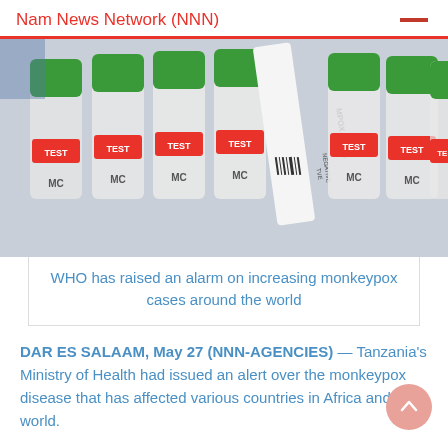Nam News Network (NNN)
[Figure (photo): Multiple test tubes with green caps labeled TEST and MC, with a Monkeypox Virus test label visible in the center, used for monkeypox virus testing.]
WHO has raised an alarm on increasing monkeypox cases around the world
DAR ES SALAAM, May 27 (NNN-AGENCIES) — Tanzania's Ministry of Health had issued an alert over the monkeypox disease that has affected various countries in Africa and the world.
On Wednesday, the ministry shared a poster with information